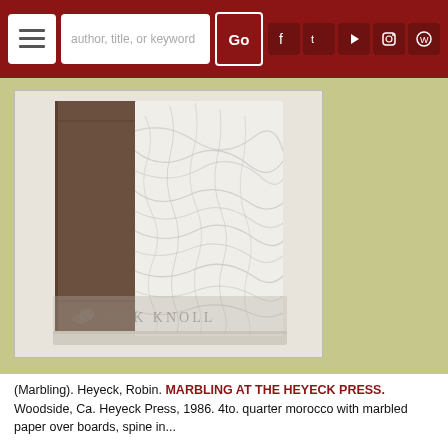Oak Knoll Books - navigation bar with search: author, title, or keyword
[Figure (photo): A book with a brown leather spine and white marbled cover boards, standing upright. The book is photographed against a light background. An Oak Knoll watermark logo and text appear at the bottom of the image.]
(Marbling). Heyeck, Robin. MARBLING AT THE HEYECK PRESS. Woodside, Ca. Heyeck Press, 1986. 4to. quarter morocco with marbled paper over boards, spine in...